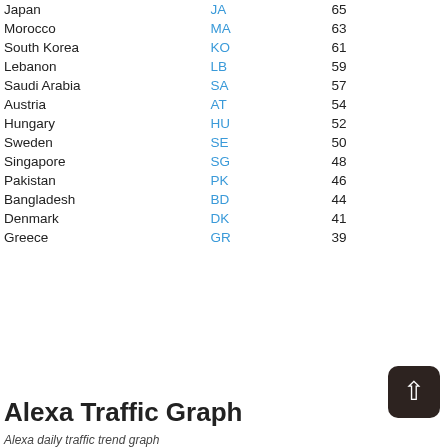| Country | Code | Value |
| --- | --- | --- |
| Japan | JA | 65 |
| Morocco | MA | 63 |
| South Korea | KO | 61 |
| Lebanon | LB | 59 |
| Saudi Arabia | SA | 57 |
| Austria | AT | 54 |
| Hungary | HU | 52 |
| Sweden | SE | 50 |
| Singapore | SG | 48 |
| Pakistan | PK | 46 |
| Bangladesh | BD | 44 |
| Denmark | DK | 41 |
| Greece | GR | 39 |
Alexa Traffic Graph
Alexa daily traffic trend graph